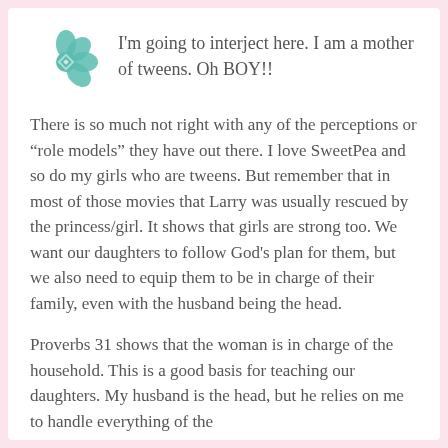[Figure (logo): Teal/turquoise geometric flower-like logo with interlocking circular pattern]
I'm going to interject here. I am a mother of tweens. Oh BOY!!
There is so much not right with any of the perceptions or “role models” they have out there. I love SweetPea and so do my girls who are tweens. But remember that in most of those movies that Larry was usually rescued by the princess/girl. It shows that girls are strong too. We want our daughters to follow God's plan for them, but we also need to equip them to be in charge of their family, even with the husband being the head.
Proverbs 31 shows that the woman is in charge of the household. This is a good basis for teaching our daughters. My husband is the head, but he relies on me to handle everything of the